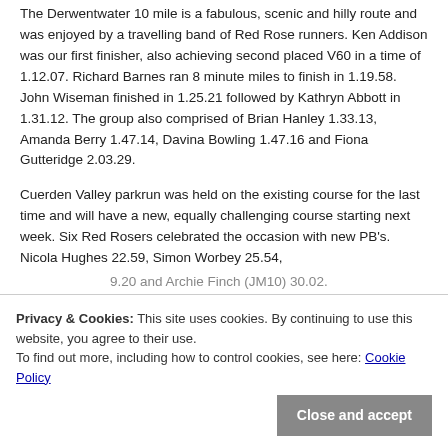The Derwentwater 10 mile is a fabulous, scenic and hilly route and was enjoyed by a travelling band of Red Rose runners. Ken Addison was our first finisher, also achieving second placed V60 in a time of 1.12.07. Richard Barnes ran 8 minute miles to finish in 1.19.58. John Wiseman finished in 1.25.21 followed by Kathryn Abbott in 1.31.12. The group also comprised of Brian Hanley 1.33.13, Amanda Berry 1.47.14, Davina Bowling 1.47.16 and Fiona Gutteridge 2.03.29.
Cuerden Valley parkrun was held on the existing course for the last time and will have a new, equally challenging course starting next week. Six Red Rosers celebrated the occasion with new PB's. Nicola Hughes 22.59, Simon Worbey 25.54, [partially obscured] 9.20 and Archie Finch (JM10) 30.02.
At Preston parkrun Susan Heatley achieved a new PB of 32.04 and Emma Louise Moon (JW...) finished in 33.38.
Privacy & Cookies: This site uses cookies. By continuing to use this website, you agree to their use. To find out more, including how to control cookies, see here: Cookie Policy